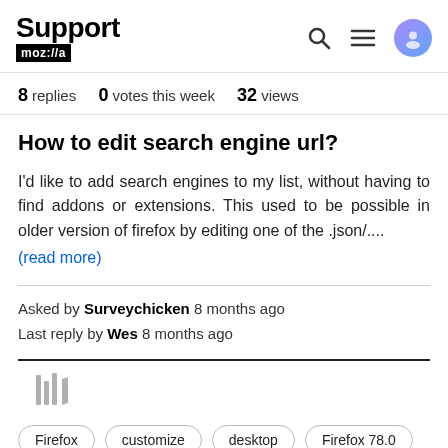Support moz://a
8 replies  0 votes this week  32 views
How to edit search engine url?
I'd like to add search engines to my list, without having to find addons or extensions. This used to be possible in older version of firefox by editing one of the .json/.... (read more)
Asked by Surveychicken 8 months ago
Last reply by Wes 8 months ago
Firefox
customize
desktop
Firefox 78.0
Windows 10